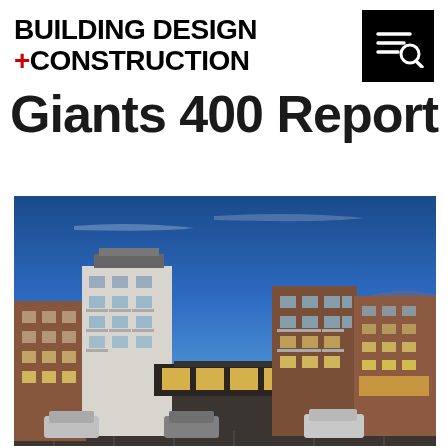BUILDING DESIGN +CONSTRUCTION
Giants 400 Report
[Figure (photo): Exterior dusk photo of a modern multi-story mixed-use apartment complex with brick and white facade, balconies, illuminated lobbies at ground level, and a parking lot in the foreground under a blue twilight sky.]